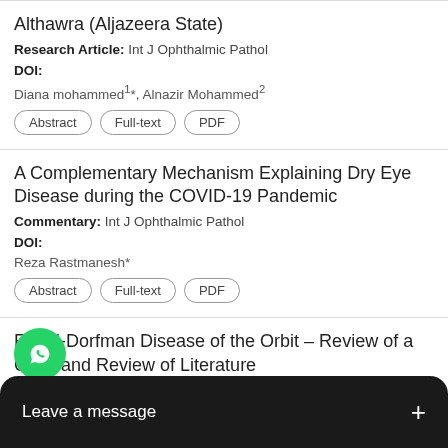Althawra (Aljazeera State)
Research Article: Int J Ophthalmic Pathol
DOI:
Diana mohammed1*, Alnazir Mohammed2
Abstract | Full-text | PDF
A Complementary Mechanism Explaining Dry Eye Disease during the COVID-19 Pandemic
Commentary: Int J Ophthalmic Pathol
DOI:
Reza Rastmanesh*
Abstract | Full-text | PDF
Rosai-Dorfman Disease of the Orbit – Review of a Case and Review of Literature
Case Report: Int J Ophthalmic Pathol
..., Kamran M.Mirza3
[Figure (other): WhatsApp contact button (green circle with phone icon) and 'Leave a message +' dark overlay bar]